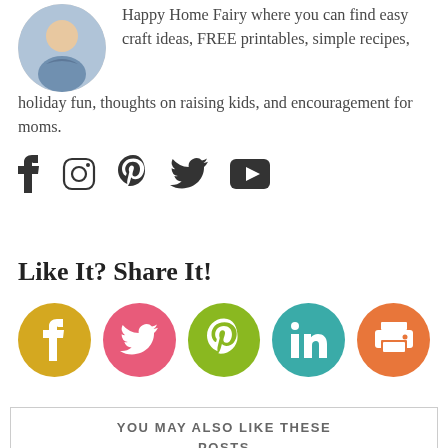[Figure (photo): Circular avatar photo of a person in a patterned top]
Happy Home Fairy where you can find easy craft ideas, FREE printables, simple recipes, holiday fun, thoughts on raising kids, and encouragement for moms.
[Figure (infographic): Social media icons row: Facebook, Instagram, Pinterest, Twitter, YouTube]
Like It? Share It!
[Figure (infographic): Social share buttons: Facebook (yellow), Twitter (pink), Pinterest (green), LinkedIn (teal), Print (orange)]
YOU MAY ALSO LIKE THESE POSTS